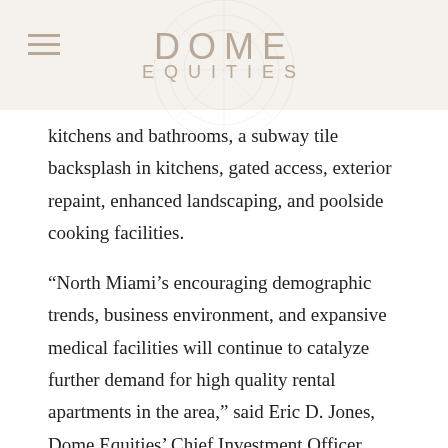DOME EQUITIES
kitchens and bathrooms, a subway tile backsplash in kitchens, gated access, exterior repaint, enhanced landscaping, and poolside cooking facilities.
“North Miami’s encouraging demographic trends, business environment, and expansive medical facilities will continue to catalyze further demand for high quality rental apartments in the area,” said Eric D. Jones, Dome Equities’ Chief Investment Officer. “We are thrilled to bring Dome’s expertise of providing value-add improvements for communities nationwide to Alta Mira.”